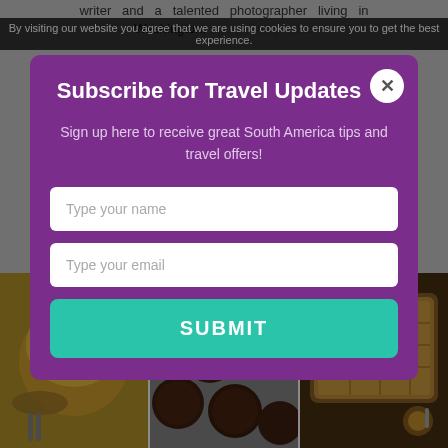writer and a talented photographer living in washington
By visiting our website you agree that we are using cookies to ensure you to get the best experience.
Subscribe for Travel Updates
Sign up here to receive great South America tips and travel offers!
Type your name
Type your email
SUBMIT
[Figure (photo): Three food photos in a row: yellow soup with red garnish, chocolate cookies, and a golden baked pie or lasagna]